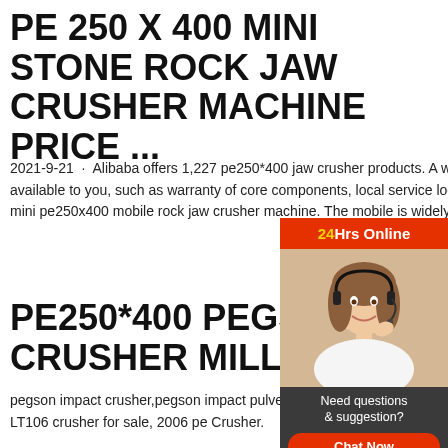PE 250 X 400 MINI STONE ROCK JAW CRUSHER MACHINE PRICE ...
2021-9-21 · Alibaba offers 1,227 pe250*400 jaw crusher products. A wide variety of pe250*400 jaw crusher options are available to you, such as warranty of core components, local service location and key selling points.:::Application of stone mini pe250x400 mobile rock jaw crusher machine. The mobile is widely used in mining, building materials
PE250*400 PEGSON I CRUSHER FOR SALE CRUSHER MILLS ...
pegson impact crusher,pegson impact pulverizer. crusher,pegson impact pulverizer Time:2014-03-2 259 – 2005 liming LT106 crusher for sale, 2006 pe Crusher.
[Figure (photo): Chat support widget with a smiling woman wearing a headset, 24Hrs Online header, Need questions & suggestion text, Chat Now button, Enquiry link, and limingjlmofen link]